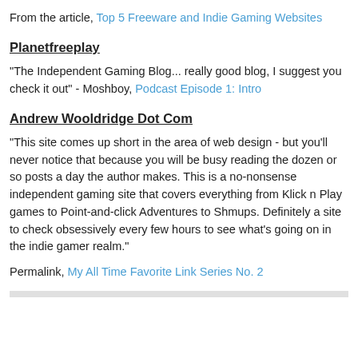From the article, Top 5 Freeware and Indie Gaming Websites
Planetfreeplay
"The Independent Gaming Blog... really good blog, I suggest you check it out" - Moshboy, Podcast Episode 1: Intro
Andrew Wooldridge Dot Com
"This site comes up short in the area of web design - but you'll never notice that because you will be busy reading the dozen or so posts a day the author makes. This is a no-nonsense independent gaming site that covers everything from Klick n Play games to Point-and-click Adventures to Shmups. Definitely a site to check obsessively every few hours to see what's going on in the indie gamer realm."
Permalink, My All Time Favorite Link Series No. 2